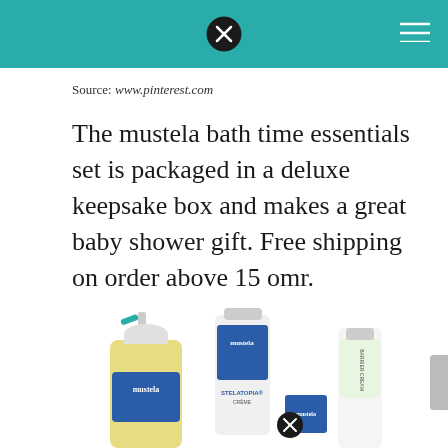Source: www.pinterest.com
The mustela bath time essentials set is packaged in a deluxe keepsake box and makes a great baby shower gift. Free shipping on order above 15 omr.
[Figure (photo): Mustela baby bath time product set including a pump bottle of bath oil, a tube of Stelatopia cream, and a barrier cream tube, displayed on white background]